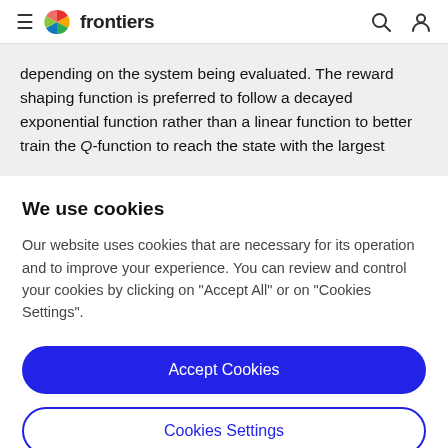frontiers
depending on the system being evaluated. The reward shaping function is preferred to follow a decayed exponential function rather than a linear function to better train the Q-function to reach the state with the largest
We use cookies
Our website uses cookies that are necessary for its operation and to improve your experience. You can review and control your cookies by clicking on "Accept All" or on "Cookies Settings".
Accept Cookies
Cookies Settings